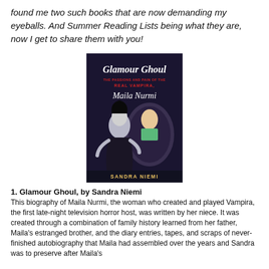found me two such books that are now demanding my eyeballs. And Summer Reading Lists being what they are, now I get to share them with you!
[Figure (photo): Book cover of 'Glamour Ghoul: The Passions and Pain of the Real Vampira, Maila Nurmi' by Sandra Niemi. Dark cover showing a vampire woman in black and a blonde woman in a mirror, gothic horror style.]
1. Glamour Ghoul, by Sandra Niemi
This biography of Maila Nurmi, the woman who created and played Vampira, the first late-night television horror host, was written by her niece. It was created through a combination of family history learned from her father, Maila's estranged brother, and the diary entries, tapes, and scraps of never-finished autobiography that Maila had assembled over the years and Sandra was to preserve after Maila's